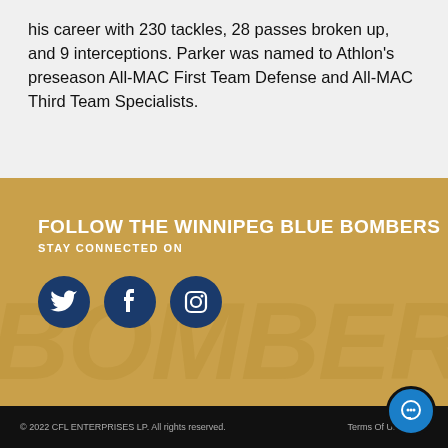his career with 230 tackles, 28 passes broken up, and 9 interceptions. Parker was named to Athlon's preseason All-MAC First Team Defense and All-MAC Third Team Specialists.
FOLLOW THE WINNIPEG BLUE BOMBERS
STAY CONNECTED ON
[Figure (other): Social media icons: Twitter, Facebook, Instagram in dark blue circles on gold background]
© 2022 CFL ENTERPRISES LP. All rights reserved.   Terms Of Use   Priv...